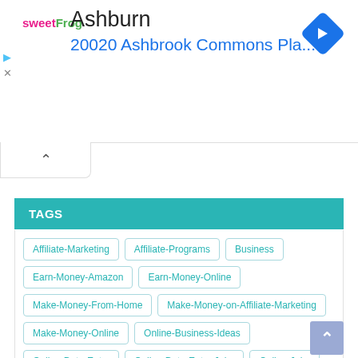[Figure (screenshot): Ad banner for sweetFrog frozen yogurt showing location 'Ashburn' and address '20020 Ashbrook Commons Pla...' with a blue navigation arrow icon on the right and play/close icons on the left]
TAGS
Affiliate-Marketing
Affiliate-Programs
Business
Earn-Money-Amazon
Earn-Money-Online
Make-Money-From-Home
Make-Money-on-Affiliate-Marketing
Make-Money-Online
Online-Business-Ideas
Online-Data-Entry
Online-Data-Entry-Jobs
Online-Jobs